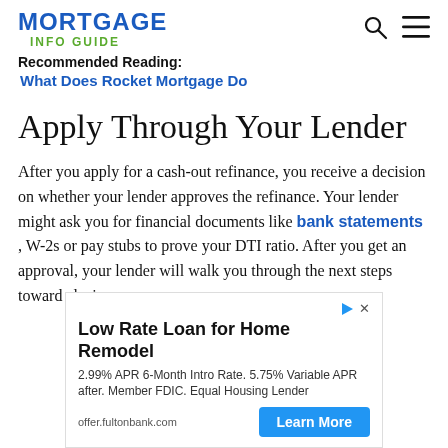MORTGAGE INFO GUIDE
Recommended Reading:
What Does Rocket Mortgage Do
Apply Through Your Lender
After you apply for a cash-out refinance, you receive a decision on whether your lender approves the refinance. Your lender might ask you for financial documents like bank statements , W-2s or pay stubs to prove your DTI ratio. After you get an approval, your lender will walk you through the next steps toward closing.
[Figure (other): Advertisement banner: Low Rate Loan for Home Remodel. 2.99% APR 6-Month Intro Rate. 5.75% Variable APR after. Member FDIC. Equal Housing Lender. offer.fultonbank.com. Learn More button.]